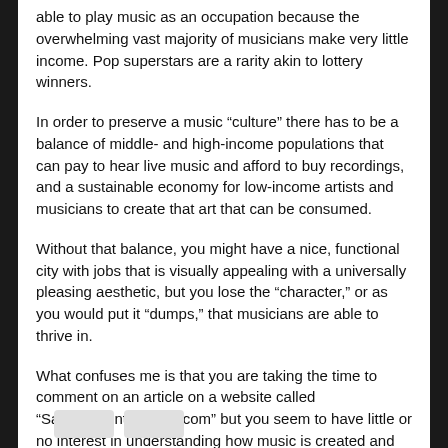able to play music as an occupation because the overwhelming vast majority of musicians make very little income. Pop superstars are a rarity akin to lottery winners.
In order to preserve a music “culture” there has to be a balance of middle- and high-income populations that can pay to hear live music and afford to buy recordings, and a sustainable economy for low-income artists and musicians to create that art that can be consumed.
Without that balance, you might have a nice, functional city with jobs that is visually appealing with a universally pleasing aesthetic, but you lose the “character,” or as you would put it “dumps,” that musicians are able to thrive in.
What confuses me is that you are taking the time to comment on an article on a website called “SavingCountryMusic.com” but you seem to have little or no interest in understanding how music is created and allowed to thrive in the first place, or for that matter in “saving” music.